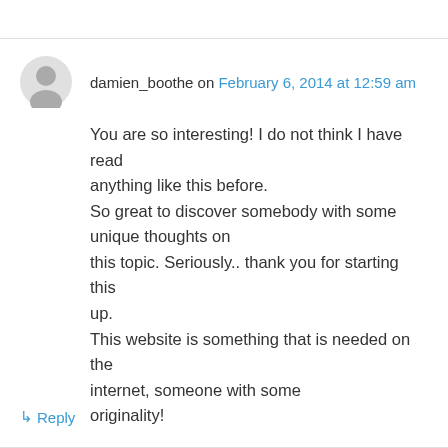damien_boothe on February 6, 2014 at 12:59 am
You are so interesting! I do not think I have read anything like this before.
So great to discover somebody with some unique thoughts on
this topic. Seriously.. thank you for starting this up.
This website is something that is needed on the internet, someone with some originality!
Like
Reply